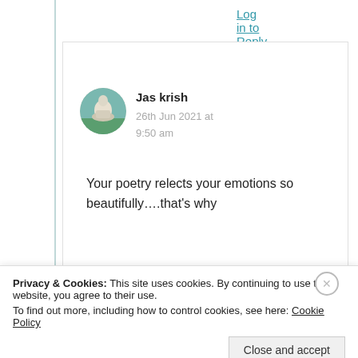Log in to Reply
[Figure (photo): Circular avatar photo of a Buddha statue outdoors]
Jas krish
26th Jun 2021 at 9:50 am
Your poetry relects your emotions so beautifully….that's why
Privacy & Cookies: This site uses cookies. By continuing to use this website, you agree to their use.
To find out more, including how to control cookies, see here: Cookie Policy
Close and accept